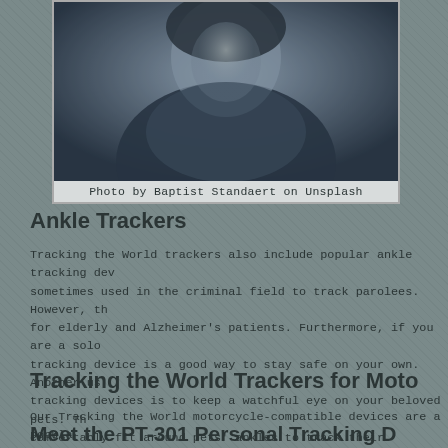[Figure (photo): A person wearing a dark jacket photographed from above/front, with a blurred background. Black and white tones.]
Photo by Baptist Standaert on Unsplash
Ankle Trackers
Tracking the World trackers also include popular ankle tracking devices, sometimes used in the criminal field to track parolees. However, they are also used for elderly and Alzheimer's patients. Furthermore, if you are a solo traveler, a tracking device is a good way to stay safe on your own. Another use for ankle tracking devices is to keep a watchful eye on your beloved pets. They can comfortably fit around pets' ankles to track their movements when you are at home and on the road. Tracking the World ankle trackers include our CAT-200X, CAT-200X 4G, and CAT-200X.
Tracking the World Trackers for Moto…
Our Tracking the World motorcycle-compatible devices are a popular choice for individuals and rental companies alike. In the world of motorsports, tracking devices are a useful tool to track the routes and mileage of vehicles. We currently offer four main motorcycle-compatible tracking devices at Tracking the World, each with unique functions that can be customized. Devices include the MT-100, AVL-75 4G, AVL-75 3G, and AVL-75.
Meet the PT-301 Personal Tracking D…